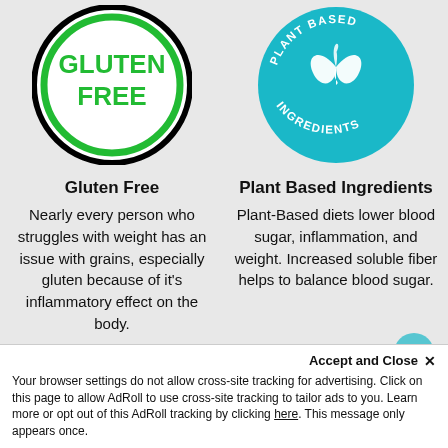[Figure (logo): Gluten Free badge: white circle with black outer ring, green inner ring, green bold text GLUTEN FREE in center]
[Figure (logo): Plant Based Ingredients badge: teal/cyan circle with white leaf icon and white text PLANT BASED INGREDIENTS curved around inside]
Gluten Free
Plant Based Ingredients
Nearly every person who struggles with weight has an issue with grains, especially gluten because of it's inflammatory effect on the body.
Plant-Based diets lower blood sugar, inflammation, and weight. Increased soluble fiber helps to balance blood sugar.
Accept and Close ×
Your browser settings do not allow cross-site tracking for advertising. Click on this page to allow AdRoll to use cross-site tracking to tailor ads to you. Learn more or opt out of this AdRoll tracking by clicking here. This message only appears once.